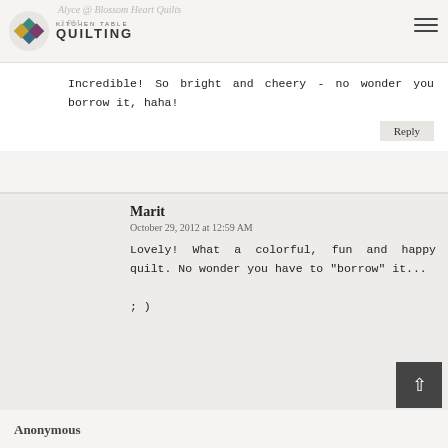Alyce @ Blossom Heart Quilts | Kitchen Table Quilting
Incredible! So bright and cheery - no wonder you borrow it, haha!
Reply
Marit
October 29, 2012 at 12:59 AM
Lovely! What a colorful, fun and happy quilt. No wonder you have to "borrow" it...

; )
Anonymous